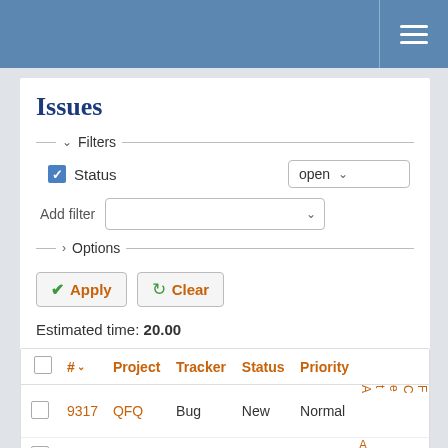Issues — navigation bar with hamburger menu
Issues
Filters (collapsed section with Status filter set to open)
Status: open
Add filter
Options (collapsed section)
Apply   Clear
Estimated time: 20.00
| # | Project | Tracker | Status | Priority |
| --- | --- | --- | --- | --- |
| 9317 | QFQ | Bug | New | Normal |
| 9281 | QFQ | Bug | New | Normal |